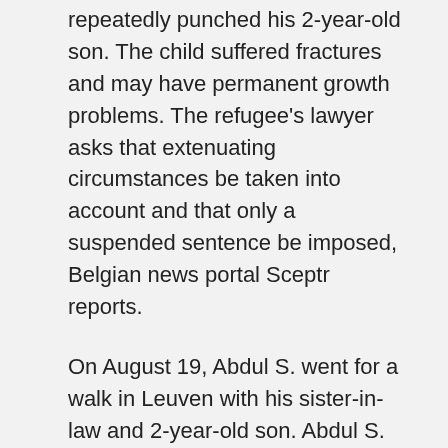repeatedly punched his 2-year-old son. The child suffered fractures and may have permanent growth problems. The refugee's lawyer asks that extenuating circumstances be taken into account and that only a suspended sentence be imposed, Belgian news portal Sceptr reports.
On August 19, Abdul S. went for a walk in Leuven with his sister-in-law and 2-year-old son. Abdul S. was drunk and suddenly started hitting the toddler with clenched fists. Shocked bystanders immediately called the police and began filming the incident. The man was arrested; the boy